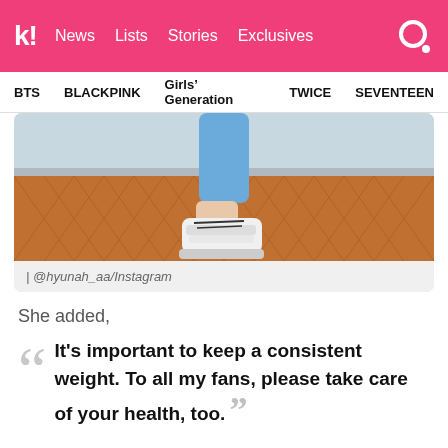k! News Lists Stories Exclusives
BTS BLACKPINK Girls' Generation TWICE SEVENTEEN
[Figure (photo): Close-up photo of a person's lower leg wearing blue leggings and white sneakers, standing on a herringbone wood floor.]
| @hyunah_aa/Instagram
She added,
It's important to keep a consistent weight. To all my fans, please take care of your health, too.